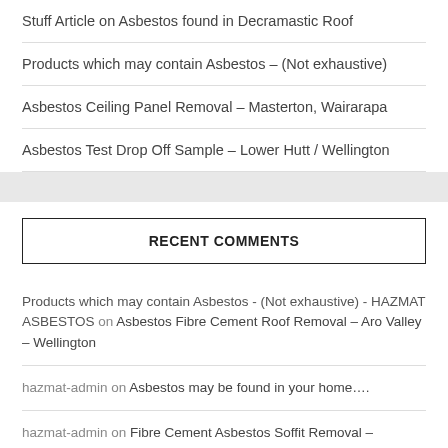Stuff Article on Asbestos found in Decramastic Roof
Products which may contain Asbestos – (Not exhaustive)
Asbestos Ceiling Panel Removal – Masterton, Wairarapa
Asbestos Test Drop Off Sample – Lower Hutt / Wellington
RECENT COMMENTS
Products which may contain Asbestos - (Not exhaustive) - HAZMAT ASBESTOS on Asbestos Fibre Cement Roof Removal – Aro Valley – Wellington
hazmat-admin on Asbestos may be found in your home….
hazmat-admin on Fibre Cement Asbestos Soffit Removal – Wellington